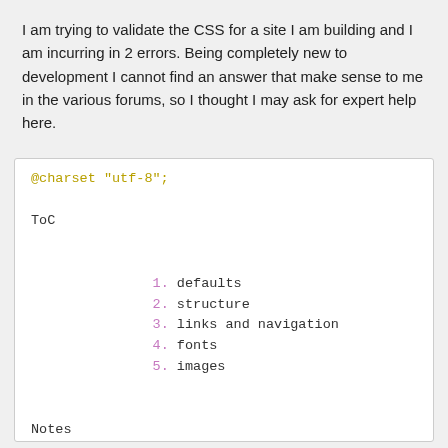I am trying to validate the CSS for a site I am building and I am incurring in 2 errors. Being completely new to development I cannot find an answer that make sense to me in the various forums, so I thought I may ask for expert help here.
The CSS code is the following
[Figure (screenshot): Code block showing CSS snippet with @charset, ToC list (defaults, structure, links and navigation, fonts, images), Notes section, and CSS rules for *{ margin: 0; padding: 0; }]